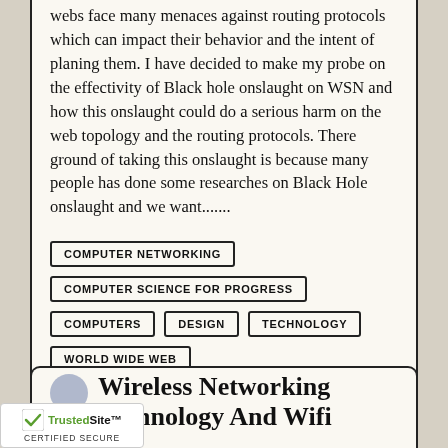webs face many menaces against routing protocols which can impact their behavior and the intent of planing them. I have decided to make my probe on the effectivity of Black hole onslaught on WSN and how this onslaught could do a serious harm on the web topology and the routing protocols. There ground of taking this onslaught is because many people has done some researches on Black Hole onslaught and we want.......
COMPUTER NETWORKING
COMPUTER SCIENCE FOR PROGRESS
COMPUTERS
DESIGN
TECHNOLOGY
WORLD WIDE WEB
Wireless Networking Technology And Wifi